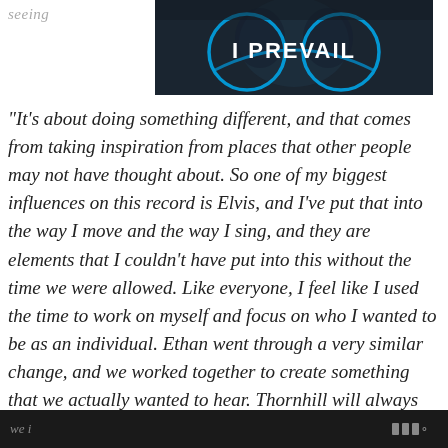seeing
[Figure (screenshot): Dark banner image with glowing blue circular design and brain/figure imagery. White bold text reads 'I PREVAIL' centered on the banner.]
"It's about doing something different, and that comes from taking inspiration from places that other people may not have thought about. So one of my biggest influences on this record is Elvis, and I've put that into the way I move and the way I sing, and they are elements that I couldn't have put into this without the time we were allowed. Like everyone, I feel like I used the time to work on myself and focus on who I wanted to be as an individual. Ethan went through a very similar change, and we worked together to create something that we actually wanted to hear. Thornhill will always try and write what
we i